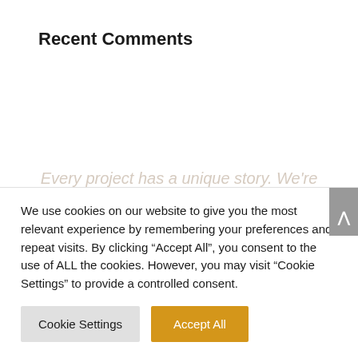Recent Comments
Every project has a unique story. We’re here to help you bring it to life.
We use cookies on our website to give you the most relevant experience by remembering your preferences and repeat visits. By clicking “Accept All”, you consent to the use of ALL the cookies. However, you may visit “Cookie Settings” to provide a controlled consent.
Cookie Settings
Accept All